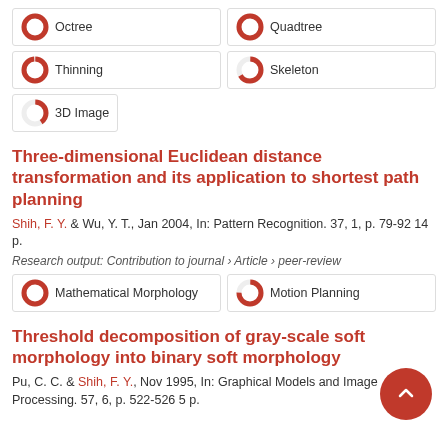Octree
Quadtree
Thinning
Skeleton
3D Image
Three-dimensional Euclidean distance transformation and its application to shortest path planning
Shih, F. Y. & Wu, Y. T., Jan 2004, In: Pattern Recognition. 37, 1, p. 79-92 14 p.
Research output: Contribution to journal › Article › peer-review
Mathematical Morphology
Motion Planning
Threshold decomposition of gray-scale soft morphology into binary soft morphology
Pu, C. C. & Shih, F. Y., Nov 1995, In: Graphical Models and Image Processing. 57, 6, p. 522-526 5 p.